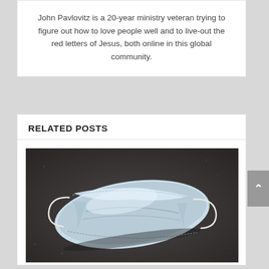John Pavlovitz is a 20-year ministry veteran trying to figure out how to love people well and to live-out the red letters of Jesus, both online in this global community.
RELATED POSTS
[Figure (photo): A light blue disposable surgical face mask lying flat on a dark asphalt or concrete surface, photographed from above.]